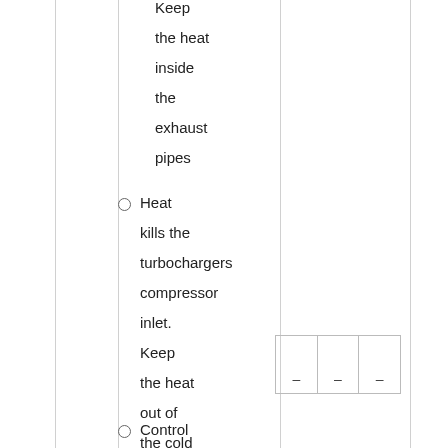Keep the heat inside the exhaust pipes
Heat kills the turbochargers compressor inlet. Keep the heat out of the cold piping.
[Figure (table-as-image): A small 1-row, 3-column table with dashes in each cell, no headers]
Control